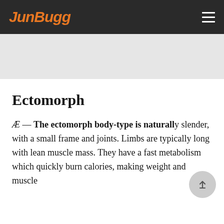JunBugg
[Figure (other): Light gray banner/advertisement area below the header]
Ectomorph
Æ — The ectomorph body-type is naturally slender, with a small frame and joints. Limbs are typically long with lean muscle mass. They have a fast metabolism which quickly burn calories, making weight and muscle